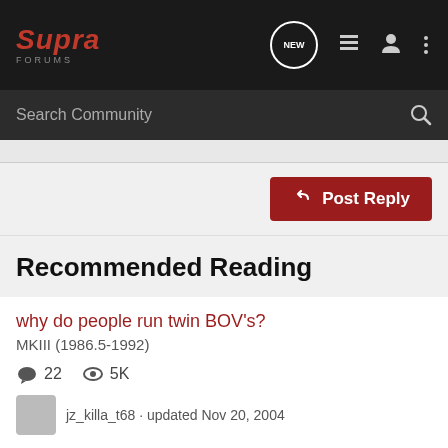Supra Forums
Search Community
Post Reply
Recommended Reading
why do people run twin BOV's?
MKIII (1986.5-1992)
22 replies · 5K views
jz_killa_t68 · updated Nov 20, 2004